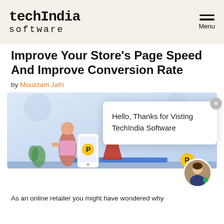techIndia software
Improve Your Store's Page Speed And Improve Conversion Rate
by Mouzzam Jafri
[Figure (illustration): Illustration of a person with a mobile phone showing an e-commerce app, with a rocket/arrow graphic and gear icons in the background. A chat popup overlay reads 'Hello, Thanks for Visting TechIndia Software' with a close button and an avatar circle at the bottom right.]
As an online retailer you might have wondered why